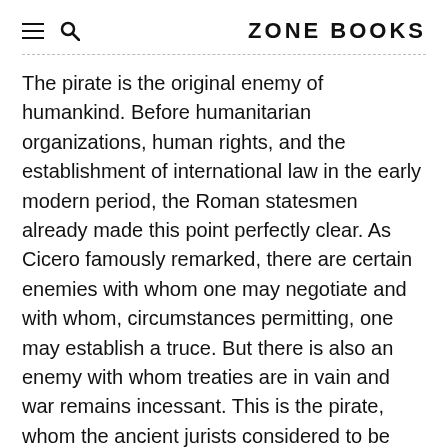ZONE BOOKS
The pirate is the original enemy of humankind. Before humanitarian organizations, human rights, and the establishment of international law in the early modern period, the Roman statesmen already made this point perfectly clear. As Cicero famously remarked, there are certain enemies with whom one may negotiate and with whom, circumstances permitting, one may establish a truce. But there is also an enemy with whom treaties are in vain and war remains incessant. This is the pirate, whom the ancient jurists considered to be “the enemy of all.”